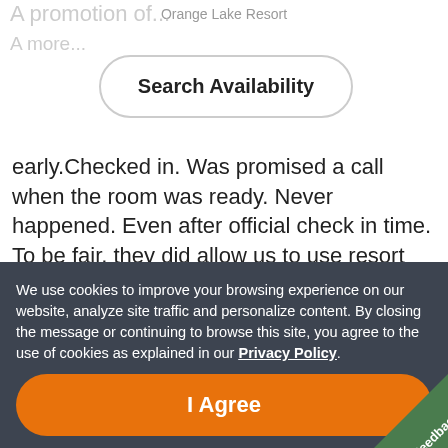Orange Lake Resort
A promotion of... (faded background text)
Search Availability
early.Checked in. Was promised a call when the room was ready. Never happened. Even after official check in time. To be fair, they did allow us to use resort facilities all day on the day of arrival and departure. Renting a tube on the lazy river is totally unnecessary unless you have small children who cannot swim. Overall clean and comfortable stay with basic starter
We use cookies to improve your browsing experience on our website, analyze site traffic and personalize content. By closing the message or continuing to browse this site, you agree to the use of cookies as explained in our Privacy Policy.
I Agree